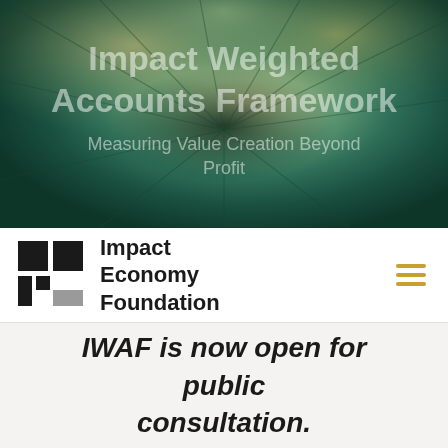[Figure (photo): Aerial view of a forest (trees seen from above, mix of green and golden tones) with semi-transparent overlaid text reading 'Impact Weighted Accounts Framework – Measuring Value Creation Beyond Profit']
Impact Weighted Accounts Framework
Measuring Value Creation Beyond Profit
[Figure (logo): Impact Economy Foundation logo: a 2x2 grid of squares (top-left black, top-right black, bottom-left black tall, bottom-right gray) next to text 'Impact Economy Foundation']
IWAF is now open for public consultation.